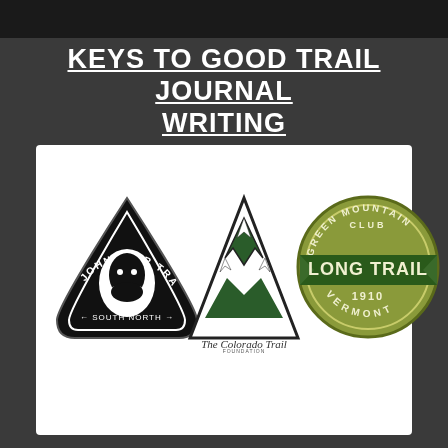[Figure (photo): Dark scenic photo bar at top of page]
KEYS TO GOOD TRAIL JOURNAL WRITING
[Figure (logo): Three trail logos on white panel: John Muir Trail (black badge), The Colorado Trail (mountain triangle logo), and Green Mountain Club Long Trail 1910 Vermont (olive/green circular badge)]